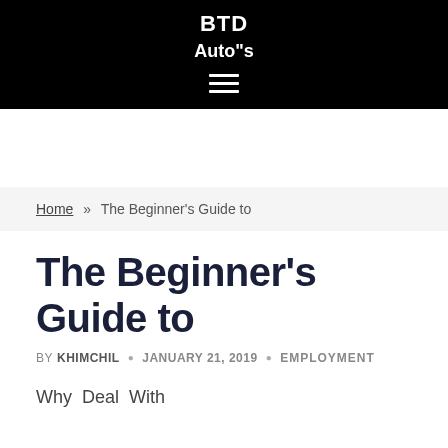BTD
Auto"s
Home » The Beginner's Guide to
The Beginner's Guide to
BY KHIMCHIL • JANUARY 21, 2019 • EMPLOYMENT
Why  Deal  With